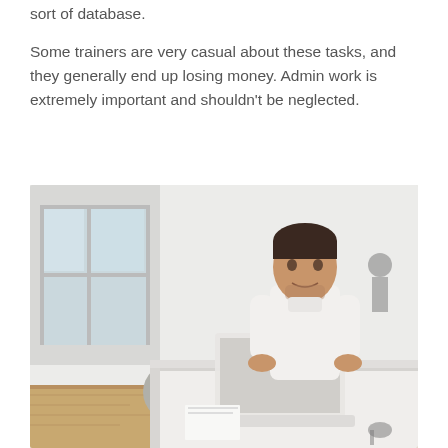sort of database.
Some trainers are very casual about these tasks, and they generally end up losing money. Admin work is extremely important and shouldn't be neglected.
[Figure (photo): A young man in a white t-shirt standing at a white reception desk with a laptop open in front of him, in a bright gym or studio with white brick walls and large windows in the background.]